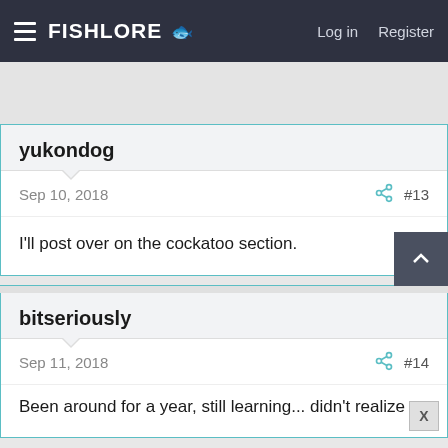FishLore | Log in | Register
yukondog
Sep 10, 2018  #13
I'll post over on the cockatoo section.
bitseriously
Sep 11, 2018  #14
Been around for a year, still learning... didn't realize